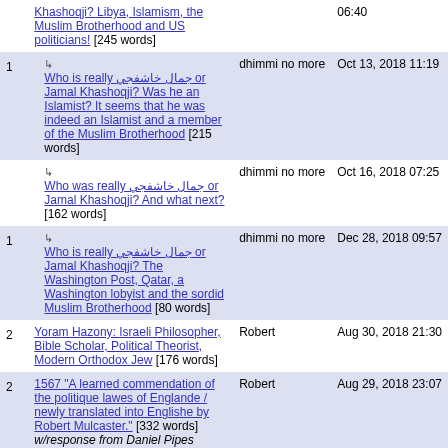| # | Title | Author | Date |
| --- | --- | --- | --- |
|  | Khashoqji? Libya, Islamism, the Muslim Brotherhood and US politicians! [245 words] |  | 06:40 |
| 1 | ↳ Who is really جمال خاشفجي or Jamal Khashoqji? Was he an Islamist? It seems that he was indeed an Islamist and a member of the Muslim Brotherhood [215 words] | dhimmi no more | Oct 13, 2018 11:19 |
|  | ↳ Who was really جمال خاشفجي or Jamal Khashoqji? And what next? [162 words] | dhimmi no more | Oct 16, 2018 07:25 |
| 1 | ↳ Who is really جمال خاشفجي or Jamal Khashoqji? The Washington Post, Qatar, a Washington lobyist and the sordid Muslim Brotherhood [80 words] | dhimmi no more | Dec 28, 2018 09:57 |
| 2 | Yoram Hazony: Israeli Philosopher, Bible Scholar, Political Theorist, Modern Orthodox Jew [176 words] | Robert | Aug 30, 2018 21:30 |
| 2 | 1567 "A learned commendation of the politique lawes of Englande / newly translated into Englishe by Robert Mulcaster." [332 words] w/response from Daniel Pipes | Robert | Aug 29, 2018 23:07 |
| 2 | "On the Nature of Natural Law" by Sir John Fortescue [495 words] | Robert | Aug 28, ... |